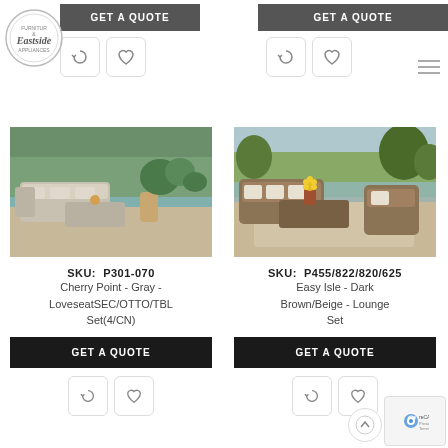[Figure (other): GET A QUOTE button for left product (top, gray)]
[Figure (other): GET A QUOTE button for right product (top, gray)]
[Figure (logo): Eastside Appliances/Furniture circular logo]
[Figure (photo): Cherry Point Gray outdoor sectional sofa set near pool]
[Figure (photo): Easy Isle Dark Brown/Beige lounge set on patio]
SKU: P301-070
Cherry Point - Gray - LoveseatSEC/OTTO/TBL Set(4/CN)
SKU: P455/822/820/625
Easy Isle - Dark Brown/Beige - Lounge Set
[Figure (other): GET A QUOTE button for left product (bottom, black)]
[Figure (other): GET A QUOTE button for right product (bottom, black)]